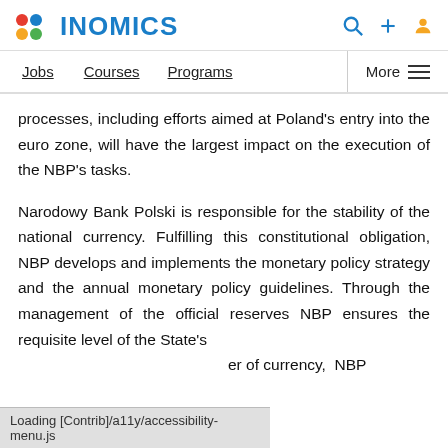INOMICS
Jobs   Courses   Programs   More
processes, including efforts aimed at Poland's entry into the euro zone, will have the largest impact on the execution of the NBP's tasks.
Narodowy Bank Polski is responsible for the stability of the national currency. Fulfilling this constitutional obligation, NBP develops and implements the monetary policy strategy and the annual monetary policy guidelines. Through the management of the official reserves NBP ensures the requisite level of the State's er of currency, NBP
Loading [Contrib]/a11y/accessibility-menu.js